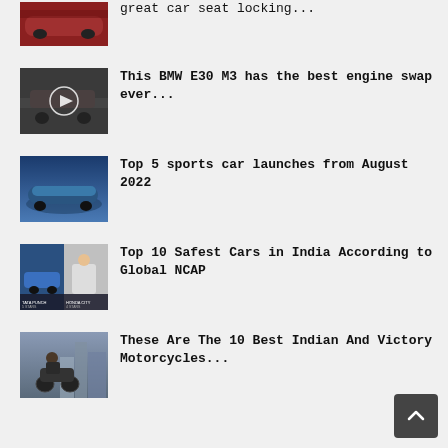great car seat locking...
[Figure (photo): Partial image of a red car at top of page]
[Figure (photo): BMW E30 M3 car on track with video play button overlay]
This BMW E30 M3 has the best engine swap ever...
[Figure (photo): Dark blue sports car on blue gradient background]
Top 5 sports car launches from August 2022
[Figure (photo): Split image showing Tata Punch (5 stars) and Honda City (4 stars) Global NCAP crash test]
Top 10 Safest Cars in India According to Global NCAP
[Figure (photo): Motorcyclist on Indian/Victory motorcycle in front of city buildings]
These Are The 10 Best Indian And Victory Motorcycles...